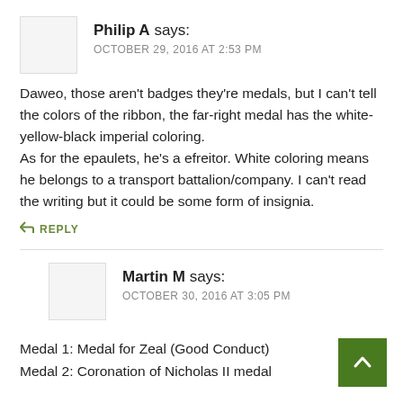Philip A says: OCTOBER 29, 2016 AT 2:53 PM
Daweo, those aren't badges they're medals, but I can't tell the colors of the ribbon, the far-right medal has the white-yellow-black imperial coloring.
As for the epaulets, he's a efreitor. White coloring means he belongs to a transport battalion/company. I can't read the writing but it could be some form of insignia.
↩ REPLY
Martin M says: OCTOBER 30, 2016 AT 3:05 PM
Medal 1: Medal for Zeal (Good Conduct)
Medal 2: Coronation of Nicholas II medal